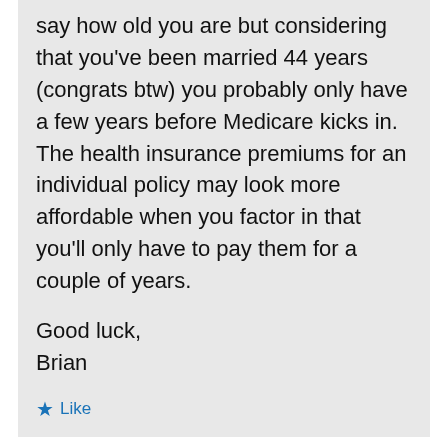say how old you are but considering that you've been married 44 years (congrats btw) you probably only have a few years before Medicare kicks in. The health insurance premiums for an individual policy may look more affordable when you factor in that you'll only have to pay them for a couple of years.
Good luck,
Brian
Like
Reply
Bama on November 2, 2011 at 7:00 pm